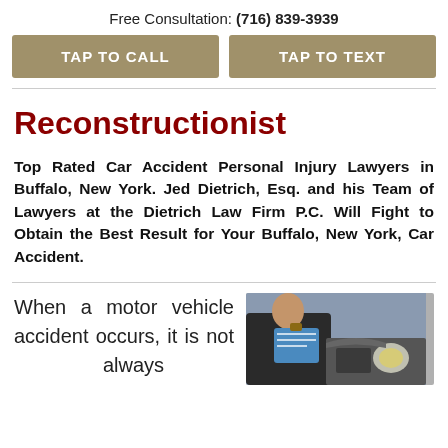Free Consultation: (716) 839-3939
TAP TO CALL
TAP TO TEXT
Reconstructionist
Top Rated Car Accident Personal Injury Lawyers in Buffalo, New York. Jed Dietrich, Esq. and his Team of Lawyers at the Dietrich Law Firm P.C. Will Fight to Obtain the Best Result for Your Buffalo, New York, Car Accident.
When a motor vehicle accident occurs, it is not always
[Figure (photo): Person in suit writing on clipboard next to damaged car]